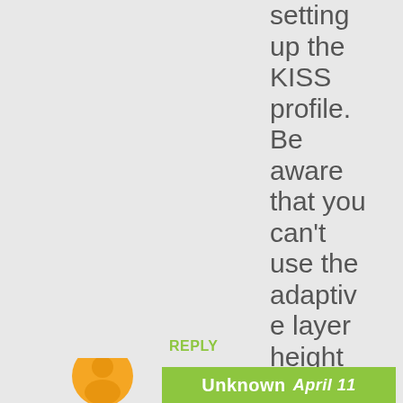setting up the KISS profile. Be aware that you can't use the adaptive layer height feature yet.
REPLY
[Figure (illustration): Orange circular user avatar icon, partially visible at bottom of page]
Unknown   April 11